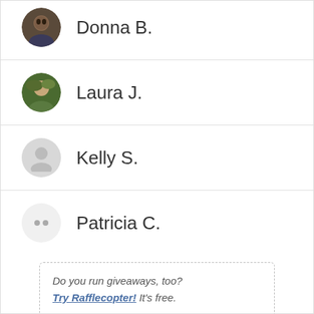Donna B.
Laura J.
Kelly S.
Patricia C.
Do you run giveaways, too? Try Rafflecopter! It's free.